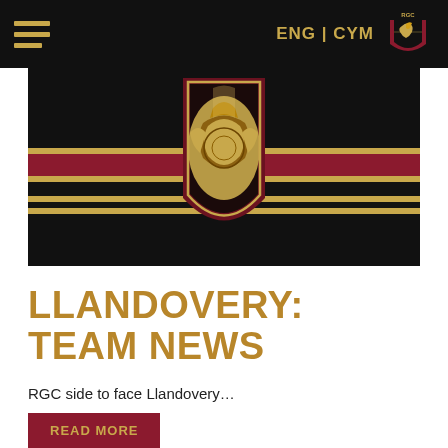ENG | CYM — RGC navigation bar with hamburger menu and logo
[Figure (photo): RGC rugby club logo on black background with red and gold horizontal stripes — a gold dragon crest shield centered on the black background]
LLANDOVERY: TEAM NEWS
RGC side to face Llandovery…
READ MORE